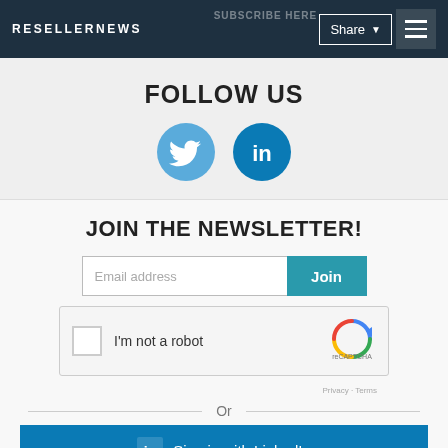RESELLERNEWS
FOLLOW US
[Figure (illustration): Twitter and LinkedIn social media icons as colored circular buttons]
JOIN THE NEWSLETTER!
Email address  Join
[Figure (screenshot): reCAPTCHA widget with checkbox labeled I'm not a robot]
Or
Sign in with LinkedIn